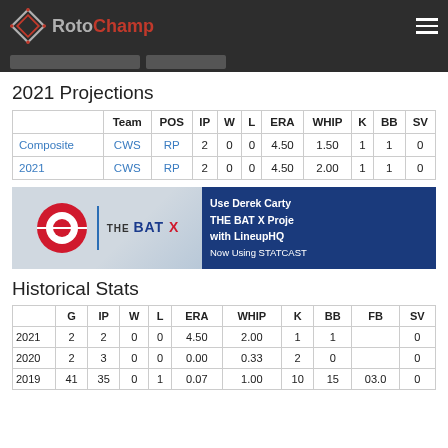RotoChamp
2021 Projections
|  | Team | POS | IP | W | L | ERA | WHIP | K | BB | SV |
| --- | --- | --- | --- | --- | --- | --- | --- | --- | --- | --- |
| Composite | CWS | RP | 2 | 0 | 0 | 4.50 | 1.50 | 1 | 1 | 0 |
| 2021 | CWS | RP | 2 | 0 | 0 | 4.50 | 2.00 | 1 | 1 | 0 |
[Figure (illustration): THE BAT X advertisement banner. Left side shows a baseball logo. Right side says 'Use Derek Carty THE BAT X Proje with LineupHQ Now Using STATCAST' on dark blue background.]
Historical Stats
|  | G | IP | W | L | ERA | WHIP | K | BB | FB | SV |
| --- | --- | --- | --- | --- | --- | --- | --- | --- | --- | --- |
| 2021 | 2 | 2 | 0 | 0 | 4.50 | 2.00 | 1 | 1 |  | 0 |
| 2020 | 2 | 3 | 0 | 0 | 0.00 | 0.33 | 2 | 0 |  | 0 |
| 2019 | 41 | 35 | 0 | 1 | 0.07 | 1.00 | 10 | 15 | 03.0 | 0 |